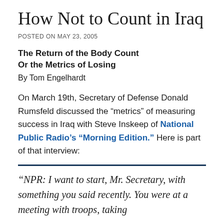How Not to Count in Iraq
POSTED ON MAY 23, 2005
The Return of the Body Count
Or the Metrics of Losing
By Tom Engelhardt
On March 19th, Secretary of Defense Donald Rumsfeld discussed the “metrics” of measuring success in Iraq with Steve Inskeep of National Public Radio’s “Morning Edition.” Here is part of that interview:
“NPR: I want to start, Mr. Secretary, with something you said recently. You were at a meeting with troops, taking